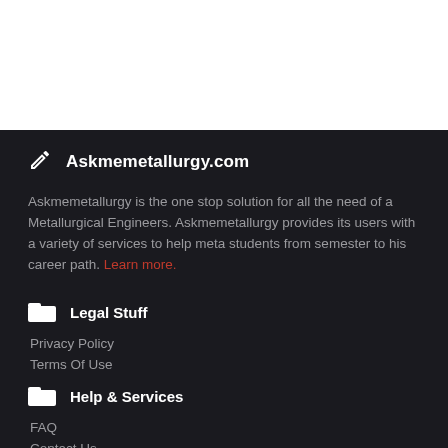Askmemetallurgy.com
Askmemetallurgy is the one stop solution for all the need of a Metallurgical Engineers. Askmemetallurgy provides its users with a variety of services to help meta students from semester to his career path. Learn more.
Legal Stuff
Privacy Policy
Terms Of Use
Help & Services
FAQ
Contact Us
Our App